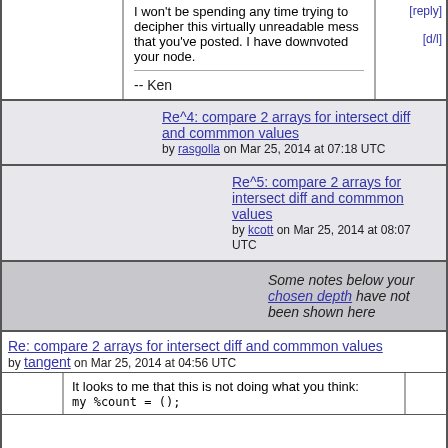I won't be spending any time trying to decipher this virtually unreadable mess that you've posted. I have downvoted your node.
-- Ken
[reply] [d/l]
Re^4: compare 2 arrays for intersect diff and commmon values by rasgolla on Mar 25, 2014 at 07:18 UTC
Re^5: compare 2 arrays for intersect diff and commmon values by kcott on Mar 25, 2014 at 08:07 UTC
Some notes below your chosen depth have not been shown here
Re: compare 2 arrays for intersect diff and commmon values by tangent on Mar 25, 2014 at 04:56 UTC
It looks to me that this is not doing what you think:
my %count = ();